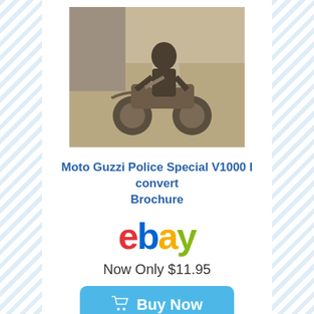[Figure (photo): Sepia-toned photograph of a police motorcycle (Moto Guzzi) with rider, parked near a wall]
Moto Guzzi Police Special V1000 I convert Brochure
[Figure (logo): eBay logo in multicolor: e=red, b=blue, a=yellow, y=green]
Now Only $11.95
[Figure (other): Buy Now button with shopping cart icon, light blue rounded rectangle]
[Figure (photo): Partial view of a blue and white Moto Guzzi V1000 brochure cover]